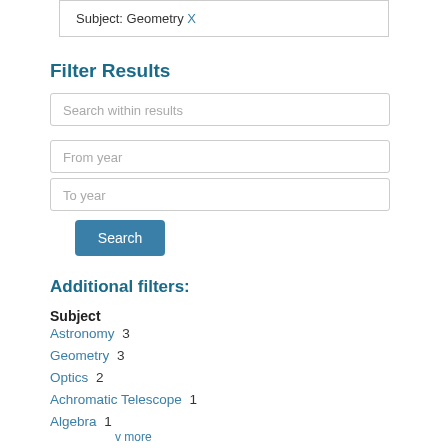Subject: Geometry X
Filter Results
Search within results
From year
To year
Search
Additional filters:
Subject
Astronomy 3
Geometry 3
Optics 2
Achromatic Telescope 1
Algebra 1
v more